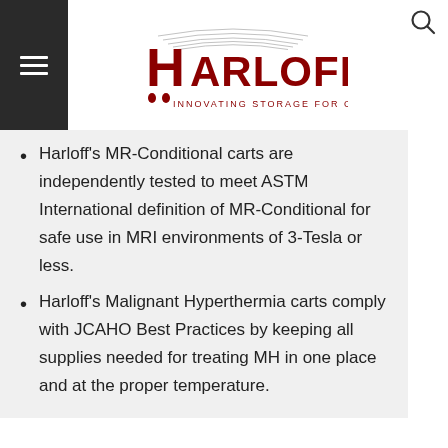Harloff — Innovating Storage for Care
Harloff's MR-Conditional carts are independently tested to meet ASTM International definition of MR-Conditional for safe use in MRI environments of 3-Tesla or less.
Harloff's Malignant Hyperthermia carts comply with JCAHO Best Practices by keeping all supplies needed for treating MH in one place and at the proper temperature.